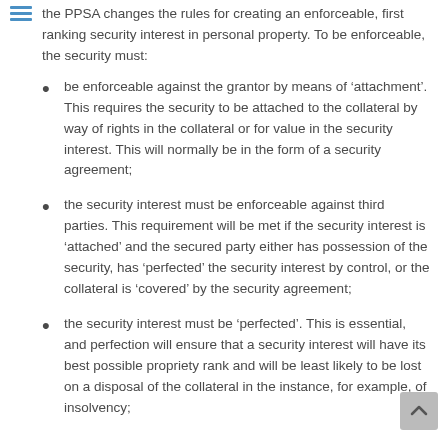the PPSA changes the rules for creating an enforceable, first ranking security interest in personal property. To be enforceable, the security must:
be enforceable against the grantor by means of ‘attachment’. This requires the security to be attached to the collateral by way of rights in the collateral or for value in the security interest. This will normally be in the form of a security agreement;
the security interest must be enforceable against third parties. This requirement will be met if the security interest is ‘attached’ and the secured party either has possession of the security, has ‘perfected’ the security interest by control, or the collateral is ‘covered’ by the security agreement;
the security interest must be ‘perfected’. This is essential, and perfection will ensure that a security interest will have its best possible propriety rank and will be least likely to be lost on a disposal of the collateral in the instance, for example, of insolvency;